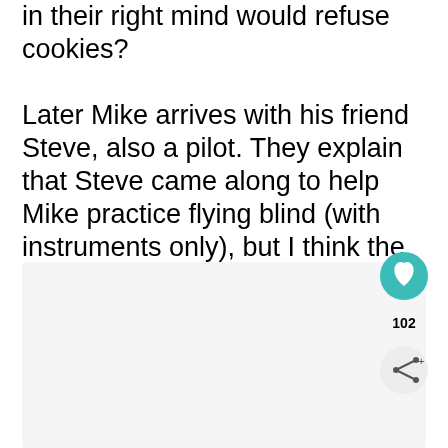in their right mind would refuse cookies? Later Mike arrives with his friend Steve, also a pilot. They explain that Steve came along to help Mike practice flying blind (with instruments only), but I think the real reason is to help throw me out of the cockpit if I try any funny stuff.
[Figure (photo): A light gray rectangular image placeholder area below the text]
[Figure (infographic): Heart/like button (teal circle with white heart icon), like count showing 102, and share button (light gray circle with share icon)]